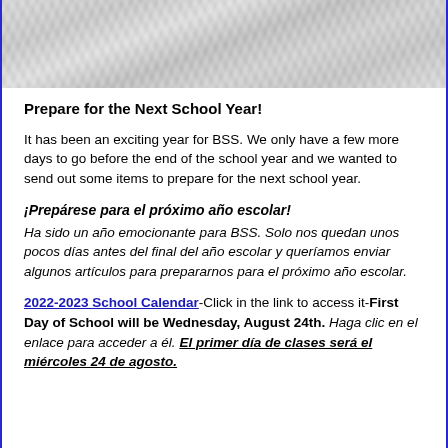[Figure (photo): Crumpled paper texture background image]
Prepare for the Next School Year!
It has been an exciting year for BSS. We only have a few more days to go before the end of the school year and we wanted to send out some items to prepare for the next school year.
¡Prepárese para el próximo año escolar!
Ha sido un año emocionante para BSS. Solo nos quedan unos pocos días antes del final del año escolar y queríamos enviar algunos artículos para prepararnos para el próximo año escolar.
2022-2023 School Calendar-Click in the link to access it-First Day of School will be Wednesday, August 24th. Haga clic en el enlace para acceder a él. El primer día de clases será el miércoles 24 de agosto.